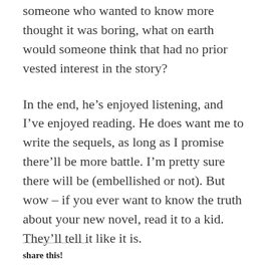someone who wanted to know more thought it was boring, what on earth would someone think that had no prior vested interest in the story?
In the end, he’s enjoyed listening, and I’ve enjoyed reading. He does want me to write the sequels, as long as I promise there’ll be more battle. I’m pretty sure there will be (embellished or not). But wow – if you ever want to know the truth about your new novel, read it to a kid. They’ll tell it like it is.
share this!